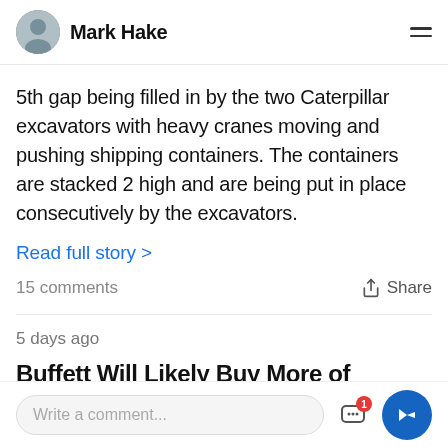Mark Hake
5th gap being filled in by the two Caterpillar excavators with heavy cranes moving and pushing shipping containers. The containers are stacked 2 high and are being put in place consecutively by the excavators.
Read full story >
15 comments
Share
5 days ago
Buffett Will Likely Buy More of Occidental Petroleum
Write a comment...